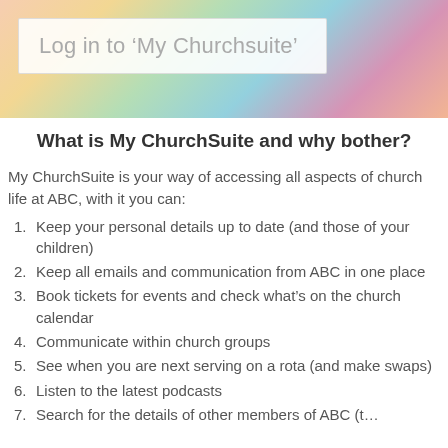[Figure (photo): Colorful blurred pencils/stationery banner image at the top of the page]
Log in to ‘My Churchsuite’
What is My ChurchSuite and why bother?
My ChurchSuite is your way of accessing all aspects of church life at ABC, with it you can:
Keep your personal details up to date (and those of your children)
Keep all emails and communication from ABC in one place
Book tickets for events and check what’s on the church calendar
Communicate within church groups
See when you are next serving on a rota (and make swaps)
Listen to the latest podcasts
Search for the details of other members of ABC (t…